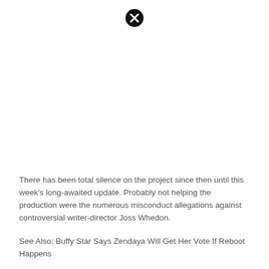[Figure (other): Close/dismiss button icon (black circle with white X) at top center of page]
There has been total silence on the project since then until this week’s long-awaited update. Probably not helping the production were the numerous misconduct allegations against controversial writer-director Joss Whedon.
See Also: Buffy Star Says Zendaya Will Get Her Vote If Reboot Happens
Since 2020 when justice league Actor Ray Fisher accused Whedon of being ‘rude, aggressive and unprofessional’ during filming, and backlash against